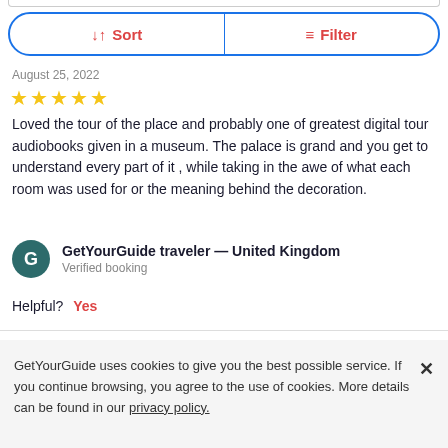[Figure (other): Sort and Filter button bar with blue rounded border. Left half shows sort icon with text 'Sort', right half shows filter icon with text 'Filter', both in red/coral color.]
August 25, 2022
[Figure (other): Five yellow star rating icons]
Loved the tour of the place and probably one of greatest digital tour audiobooks given in a museum. The palace is grand and you get to understand every part of it , while taking in the awe of what each room was used for or the meaning behind the decoration.
GetYourGuide traveler — United Kingdom
Verified booking
Helpful? Yes
GetYourGuide uses cookies to give you the best possible service. If you continue browsing, you agree to the use of cookies. More details can be found in our privacy policy.